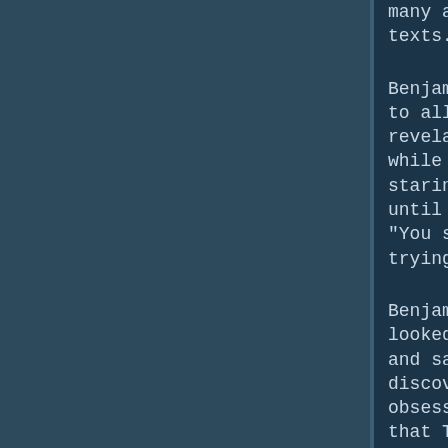many ancient texts."

Benjamin waited patiently to allow this new revelation to sink in while they sat there staring at each other until she finally asked, "You said The Beast is trying to kill you?"

Benjamin shifted forward, looked around nervously and said, "Yes! After our discovery, Mabus became obsessed. He believed that The Darkness could be an untapped energy source